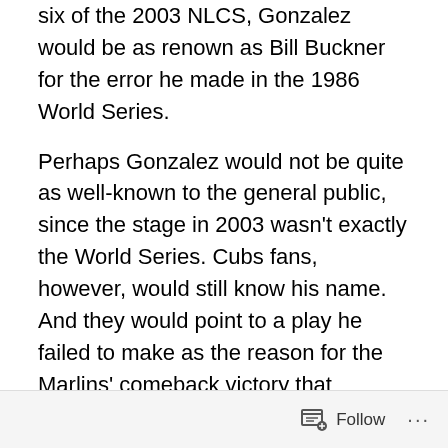six of the 2003 NLCS, Gonzalez would be as renown as Bill Buckner for the error he made in the 1986 World Series.
Perhaps Gonzalez would not be quite as well-known to the general public, since the stage in 2003 wasn't exactly the World Series. Cubs fans, however, would still know his name. And they would point to a play he failed to make as the reason for the Marlins' comeback victory that evening. But instead, the Cubs fan that everyone knows about takes the heat. The game even has his name attached to it, as if he were actually on the field that night. I somehow feel the need to explain that this was not the case.
Follow ···